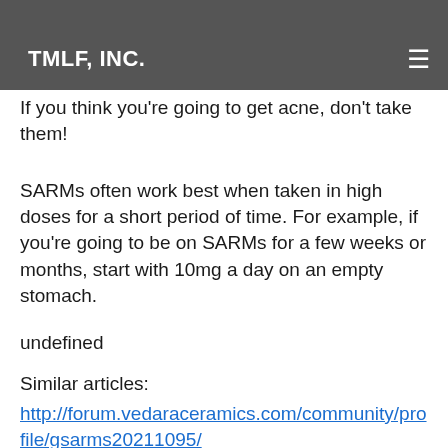TMLF, INC.
these, steroids while pregnant.
If you think you're going to get acne, don't take them!
SARMs often work best when taken in high doses for a short period of time. For example, if you're going to be on SARMs for a few weeks or months, start with 10mg a day on an empty stomach.
undefined
Similar articles:
http://forum.vedaraceramics.com/community/profile/gsarms20211095/
https://tdonetworks.com/index.php/community/profile/gsarms28365761/
http://www.golegend.com/activity/p/11193/
https://www.crystalriedemann.com/profile/steroids-role-lyrics-max-herre-das-weni-